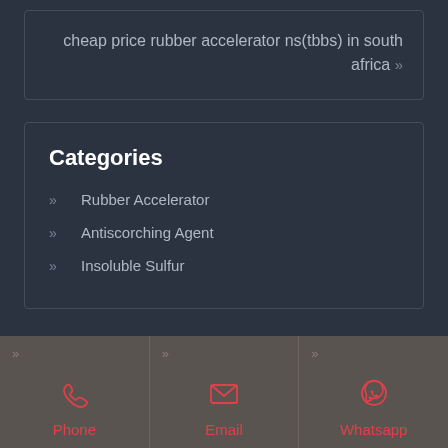cheap price rubber accelerator ns(tbbs) in south africa »
Categories
» Rubber Accelerator
» Antiscorching Agent
» Insoluble Sulfur
Phone  Email  Whatsapp